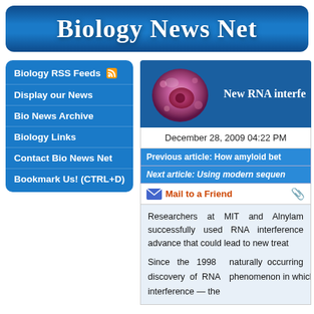Biology News Net
Biology RSS Feeds
Display our News
Bio News Archive
Biology Links
Contact Bio News Net
Bookmark Us! (CTRL+D)
[Figure (illustration): Microscopic cell illustration, pink/purple tones]
New RNA interfe
December 28, 2009 04:22 PM
Previous article: How amyloid bet
Next article: Using modern sequen
Mail to a Friend
Researchers at MIT and Alnylam successfully used RNA interference advance that could lead to new treat
Since the 1998 discovery of RNA interference — the naturally occurring phenomenon in which